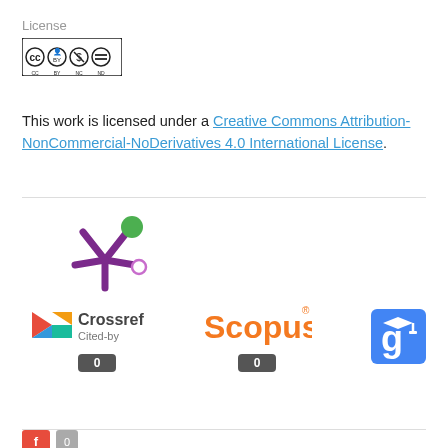License
[Figure (logo): Creative Commons BY-NC-ND license badge]
This work is licensed under a Creative Commons Attribution-NonCommercial-NoDerivatives 4.0 International License.
[Figure (logo): Altmetric donut/snowflake logo with green and purple circles]
[Figure (logo): Crossref Cited-by logo with colored geometric shapes and text 'Cited-by', count badge showing 0]
[Figure (logo): Scopus logo in orange with registered trademark, count badge showing 0]
[Figure (logo): Google Scholar logo - blue square with white g graduation cap icon]